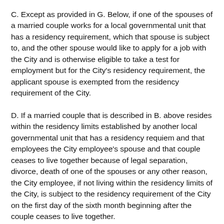C. Except as provided in G. Below, if one of the spouses of a married couple works for a local governmental unit that has a residency requirement, which that spouse is subject to, and the other spouse would like to apply for a job with the City and is otherwise eligible to take a test for employment but for the City's residency requirement, the applicant spouse is exempted from the residency requirement of the City.
D. If a married couple that is described in B. above resides within the residency limits established by another local governmental unit that has a residency requiem and that employees the City employee's spouse and that couple ceases to live together because of legal separation, divorce, death of one of the spouses or any other reason, the City employee, if not living within the residency limits of the City, is subject to the residency requirement of the City on the first day of the sixth month beginning after the couple ceases to live together.